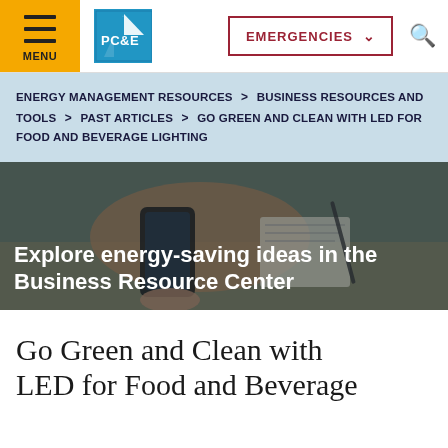MENU | PG&E Logo | EMERGENCIES | Search
ENERGY MANAGEMENT RESOURCES > BUSINESS RESOURCES AND TOOLS > PAST ARTICLES > GO GREEN AND CLEAN WITH LED FOR FOOD AND BEVERAGE LIGHTING
[Figure (photo): Person holding a smartphone with a notebook in background, hero banner image with text overlay 'Explore energy-saving ideas in the Business Resource Center']
Go Green and Clean with LED for Food and Beverage